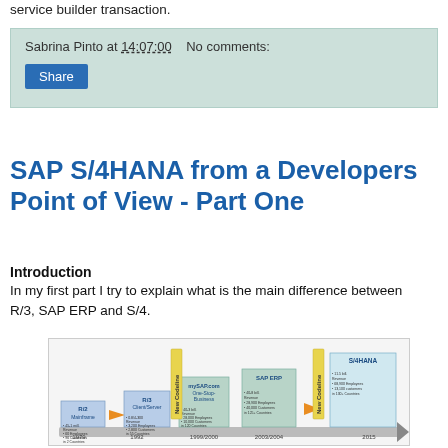service builder transaction.
Sabrina Pinto at 14:07:00   No comments:
Share
SAP S/4HANA from a Developers Point of View - Part One
Introduction
In my first part I try to explain what is the main difference between R/3, SAP ERP and S/4.
[Figure (infographic): Timeline diagram showing SAP product evolution from R/2 (Mainframe, 1979) through R/3 (Client/Server, 1992), mySAP.com One-Stop-Business (1999/2000), SAP ERP (2003/2004), with New Codeline arrows, to S/4HANA (2015).]